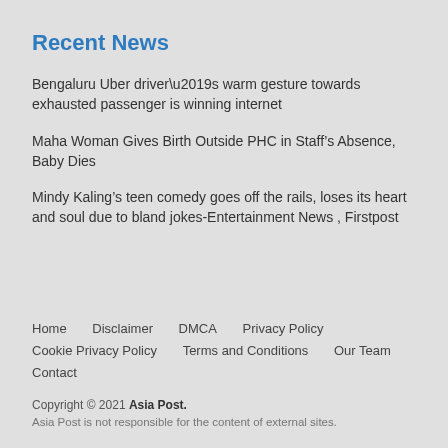Recent News
Bengaluru Uber driver’s warm gesture towards exhausted passenger is winning internet
Maha Woman Gives Birth Outside PHC in Staff’s Absence, Baby Dies
Mindy Kaling’s teen comedy goes off the rails, loses its heart and soul due to bland jokes-Entertainment News , Firstpost
Home   Disclaimer   DMCA   Privacy Policy   Cookie Privacy Policy   Terms and Conditions   Our Team   Contact
Copyright © 2021 Asia Post.
Asia Post is not responsible for the content of external sites.